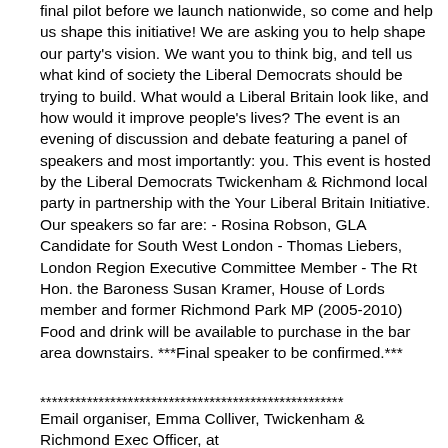final pilot before we launch nationwide, so come and help us shape this initiative! We are asking you to help shape our party's vision. We want you to think big, and tell us what kind of society the Liberal Democrats should be trying to build. What would a Liberal Britain look like, and how would it improve people's lives? The event is an evening of discussion and debate featuring a panel of speakers and most importantly: you. This event is hosted by the Liberal Democrats Twickenham & Richmond local party in partnership with the Your Liberal Britain Initiative. Our speakers so far are: - Rosina Robson, GLA Candidate for South West London - Thomas Liebers, London Region Executive Committee Member - The Rt Hon. the Baroness Susan Kramer, House of Lords member and former Richmond Park MP (2005-2010) Food and drink will be available to purchase in the bar area downstairs. ***Final speaker to be confirmed.***
****************************************************
Email organiser, Emma Colliver, Twickenham & Richmond Exec Officer, at